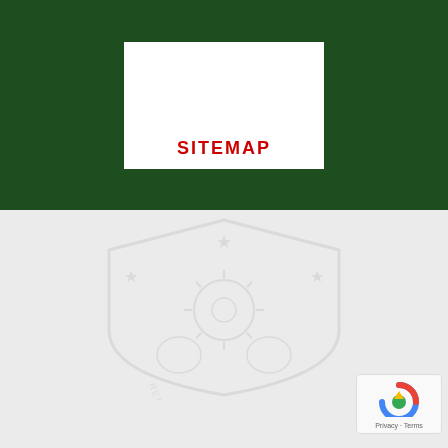[Figure (infographic): Dark green banner with a white sitemap icon (organizational chart / network diagram) above a white rectangular box with the red bold text SITEMAP]
[Figure (logo): Watermark of the Philippine government seal (Republika ng Pilipinas coat of arms) in very light gray on a light gray background]
REPUBLIC OF THE PHILIPPINES
All content is in the public domain unless otherwise stated.